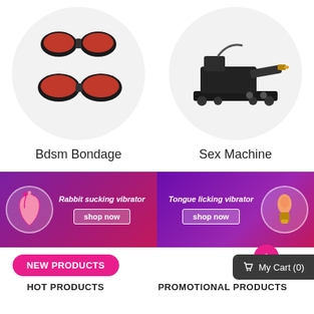[Figure (photo): Black and red padded wrist/ankle cuffs restraints set shown in a circular framed product photo]
[Figure (photo): Black mechanical sex machine device on wheeled platform shown in a circular framed product photo]
Bdsm Bondage
Sex Machine
[Figure (photo): Purple/pink promotional banner for Rabbit sucking vibrator with shop now button and product image in circle]
[Figure (photo): Purple promotional banner for Tongue licking vibrator with shop now button and product image in circle]
NEW PRODUCTS
My Cart (0)
HOT PRODUCTS
PROMOTIONAL PRODUCTS